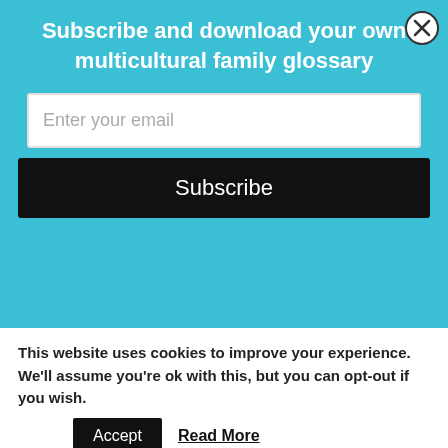Subscribe and download your own multicultural family glossary
Enter your email
Subscribe
[Figure (photo): A white bowl containing what appears to be braised or stewed food items with a dark sauce, viewed from above on a wooden surface.]
This website uses cookies to improve your experience. We'll assume you're ok with this, but you can opt-out if you wish.
Accept
Read More